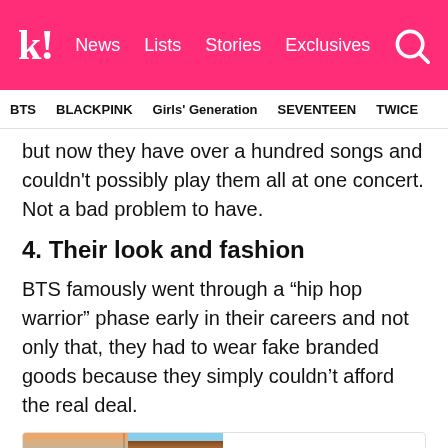k! News Lists Stories Exclusives
BTS  BLACKPINK  Girls' Generation  SEVENTEEN  TWICE
but now they have over a hundred songs and couldn't possibly play them all at one concert. Not a bad problem to have.
4. Their look and fashion
BTS famously went through a “hip hop warrior” phase early in their careers and not only that, they had to wear fake branded goods because they simply couldn’t afford the real deal.
[Figure (photo): Two BTS members performing on stage, one with orange hair smiling, one with brown hair in white outfit]
Suga's Story About G-Dragon Reveals How Much BTS Have Changed